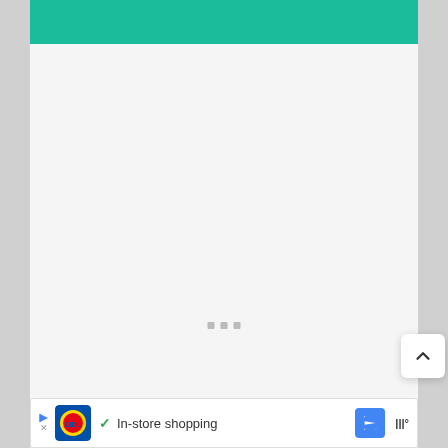[Figure (screenshot): Teal/green header bar at top of a mobile web page]
[Figure (screenshot): Light gray main content area with three small gray loading indicator rectangles in the center]
[Figure (screenshot): White rounded scroll-to-top button with upward chevron arrow]
[Figure (screenshot): Advertisement bar at bottom showing Lidl logo, checkmark, 'In-store shopping' text, blue navigation arrow icon, and weather app icon]